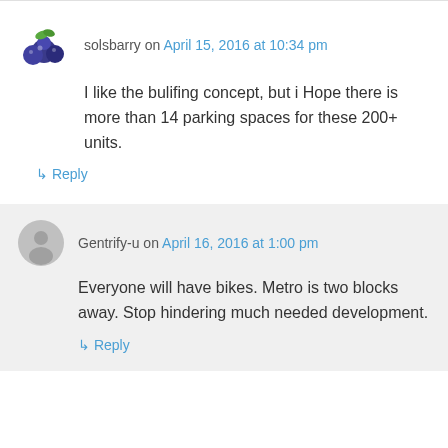solsbarry on April 15, 2016 at 10:34 pm
I like the bulifing concept, but i Hope there is more than 14 parking spaces for these 200+ units.
↳ Reply
Gentrify-u on April 16, 2016 at 1:00 pm
Everyone will have bikes. Metro is two blocks away. Stop hindering much needed development.
↳ Reply